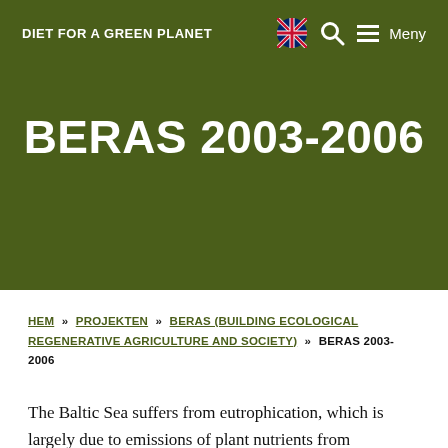DIET FOR A GREEN PLANET
BERAS 2003-2006
HEM » PROJEKTEN » BERAS (BUILDING ECOLOGICAL REGENERATIVE AGRICULTURE AND SOCIETY) » BERAS 2003-2006
The Baltic Sea suffers from eutrophication, which is largely due to emissions of plant nutrients from specialized agriculture. The basis of the BERAS (Building Ecological Regenerative Agriculture and Societies)